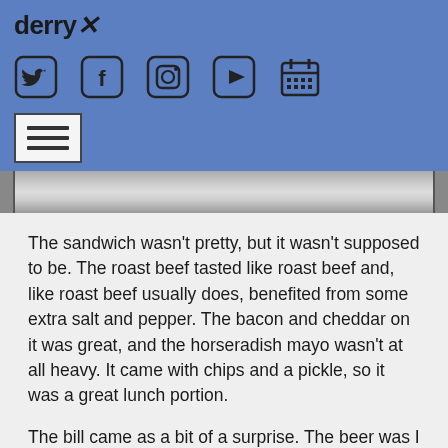derryX
[Figure (illustration): Social media icons: Twitter bird, Facebook f, Instagram camera, YouTube play button, Calendar]
[Figure (illustration): Hamburger menu button (three horizontal lines)]
[Figure (photo): Partial photo strip showing a food dish, mostly light/white tones]
The sandwich wasn't pretty, but it wasn't supposed to be. The roast beef tasted like roast beef and, like roast beef usually does, benefited from some extra salt and pepper. The bacon and cheddar on it was great, and the horseradish mayo wasn't at all heavy. It came with chips and a pickle, so it was a great lunch portion.
The bill came as a bit of a surprise. The beer was I had $6 and the sandwich was $9, so from deducting from the $27 total, that means my wings costed $12. I was ready for them costing $9.50 ($9 for the order of 10 and $0.50 for getting the award winning hot). So it looks like I got charged $1.25 twice to...